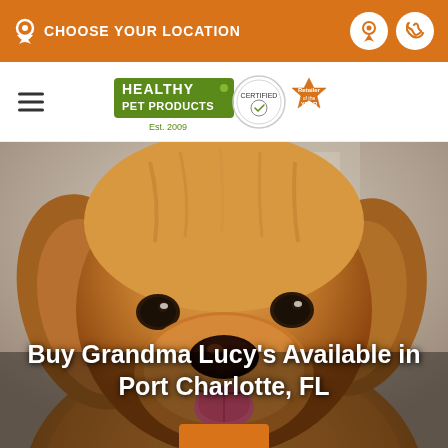CHOOSE YOUR LOCATION
[Figure (logo): Healthy Pet Products logo with certification badges, Est. 2009]
[Figure (photo): Close-up photo of a golden retriever dog looking at the camera with a pink tongue slightly visible, warm soft-focus background]
Buy Grandma Lucy's Available in Port Charlotte, FL